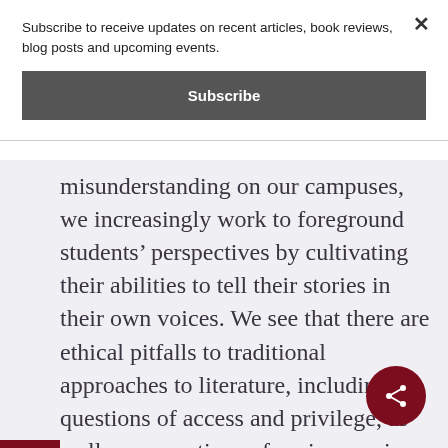Subscribe to receive updates on recent articles, book reviews, blog posts and upcoming events.
Subscribe
misunderstanding on our campuses, we increasingly work to foreground students’ perspectives by cultivating their abilities to tell their stories in their own voices. We see that there are ethical pitfalls to traditional approaches to literature, including questions of access and privilege, as well as accusations of sexism, racism,